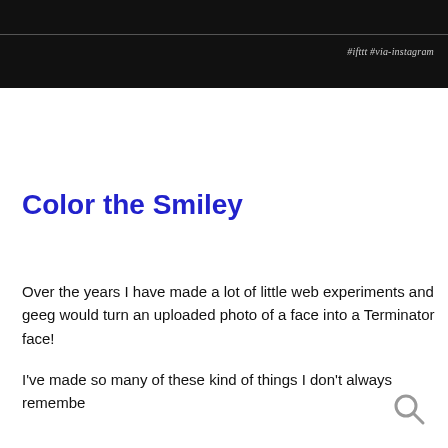#ifttt #via-instagram
Color the Smiley
Over the years I have made a lot of little web experiments and geeg would turn an uploaded photo of a face into a Terminator face!
I've made so many of these kind of things I don't always remembe